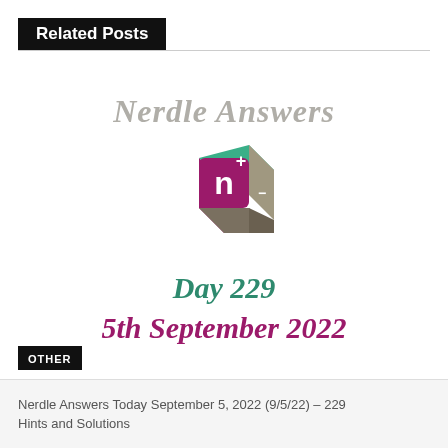Related Posts
[Figure (illustration): Nerdle game promotional image showing 'Nerdle Answers' in italicized gray text at top, a 3D dice/cube logo with a purple face showing letter 'n', green top face with plus sign, and gray side with minus sign, followed by 'Day 229' in teal italic text and '5th September 2022' in purple/magenta italic bold text below.]
OTHER
Nerdle Answers Today September 5, 2022 (9/5/22) – 229 Hints and Solutions